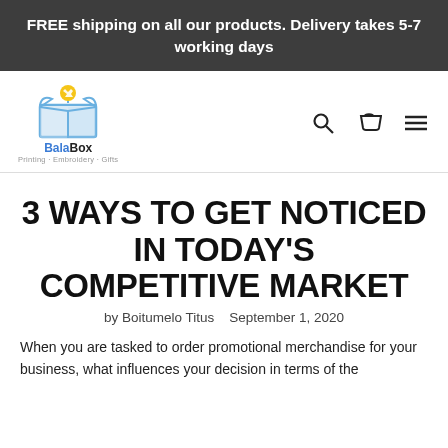FREE shipping on all our products. Delivery takes 5-7 working days
[Figure (logo): BalaBox logo — blue open box with yellow shirt icon, text: BalaBox, Printing · Embroidery · Gifts]
3 WAYS TO GET NOTICED IN TODAY'S COMPETITIVE MARKET
by Boitumelo Titus   September 1, 2020
When you are tasked to order promotional merchandise for your business, what influences your decision in terms of the